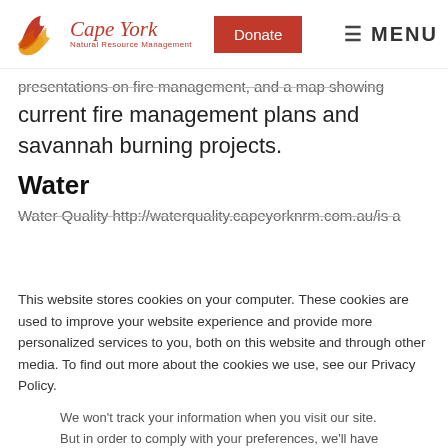[Figure (logo): Cape York Natural Resource Management logo with stylized leaf/flame and red italic text]
presentations on fire management, and a map showing current fire management plans and savannah burning projects.
Water
Water Quality http://waterquality.capeyorknrm.com.au/is a
This website stores cookies on your computer. These cookies are used to improve your website experience and provide more personalized services to you, both on this website and through other media. To find out more about the cookies we use, see our Privacy Policy.
We won't track your information when you visit our site. But in order to comply with your preferences, we'll have to use just one tiny cookie so that you're not asked to make this choice again.